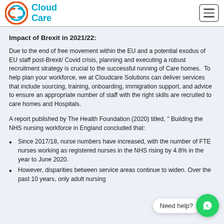Cloud Care
Impact of Brexit in 2021/22:
Due to the end of free movement within the EU and a potential exodus of EU staff post-Brexit/ Covid crisis, planning and executing a robust recruitment strategy is crucial to the successful running of Care homes.  To help plan your workforce, we at Cloudcare Solutions can deliver services that include sourcing, training, onboarding, immigration support, and advice to ensure an appropriate number of staff with the right skills are recruited to care homes and Hospitals.
A report published by The Health Foundation (2020) titled, " Building the NHS nursing workforce in England concluded that:
Since 2017/18, nurse numbers have increased, with the number of FTE nurses working as registered nurses in the NHS rising by 4.8% in the year to June 2020.
However, disparities between service areas continue to widen. Over the past 10 years, only adult nursing